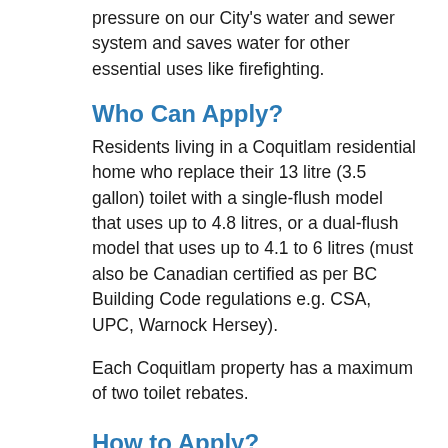pressure on our City's water and sewer system and saves water for other essential uses like firefighting.
Who Can Apply?
Residents living in a Coquitlam residential home who replace their 13 litre (3.5 gallon) toilet with a single-flush model that uses up to 4.8 litres, or a dual-flush model that uses up to 4.1 to 6 litres (must also be Canadian certified as per BC Building Code regulations e.g. CSA, UPC, Warnock Hersey).
Each Coquitlam property has a maximum of two toilet rebates.
How to Apply?
It's easy!
Take a pic of your old toilet still installed.